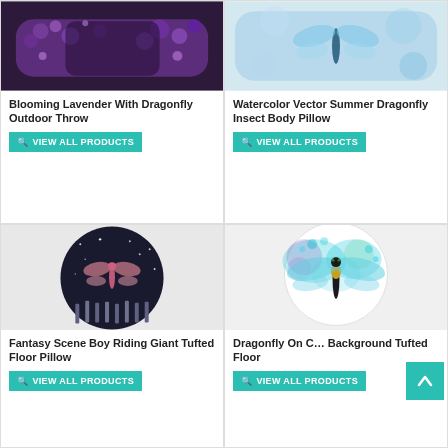[Figure (photo): Purple blooming lavender with a dragonfly throw pillow product image]
Blooming Lavender With Dragonfly Outdoor Throw
VIEW ALL PRODUCTS
[Figure (photo): Watercolor vector summer dragonfly insect body pillow product image]
Watercolor Vector Summer Dragonfly Insect Body Pillow
VIEW ALL PRODUCTS
[Figure (photo): Dark circular floor pillow with pink dragonfly over lavender scene — Fantasy Scene Boy Riding Giant]
Fantasy Scene Boy Riding Giant Tufted Floor Pillow
VIEW ALL PRODUCTS
[Figure (photo): White circular floor pillow with colorful dragonfly on watercolor splash background]
Dragonfly On Colorful Background Tufted Floor
VIEW ALL PRODUCTS